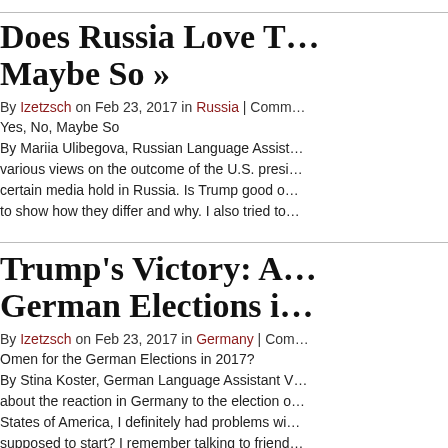Does Russia Love T… Maybe So »
By Izetzsch on Feb 23, 2017 in Russia | Comm…
Yes, No, Maybe So
By Mariia Ulibegova, Russian Language Assist… various views on the outcome of the U.S. presi… certain media hold in Russia. Is Trump good o… to show how they differ and why. I also tried to…
Trump's Victory: A… German Elections i…
By Izetzsch on Feb 23, 2017 in Germany | Com…
Omen for the German Elections in 2017?
By Stina Koster, German Language Assistant V… about the reaction in Germany to the election o… States of America, I definitely had problems wi… supposed to start? I remember talking to friend…